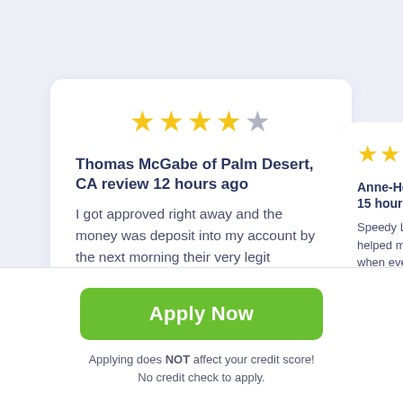[Figure (other): Review card for Thomas McGabe with 4.5 star rating]
Thomas McGabe of Palm Desert, CA review 12 hours ago
I got approved right away and the money was deposit into my account by the next morning their very legit
[Figure (other): Partially visible review card for Anne-Hodges with ~3.5 star rating and a scroll-up button overlay]
Anne-Hodges of To... 15 hours ago
Speedy Loan is awe... helped me o... when ever I n...
Apply Now
Applying does NOT affect your credit score!
No credit check to apply.